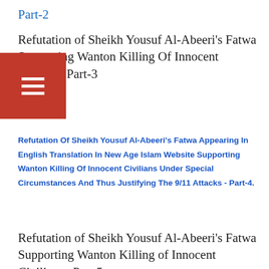Part-2
Refutation of Sheikh Yousuf Al-Abeeri's Fatwa Supporting Wanton Killing Of Innocent Civilians Part-3
Refutation Of Sheikh Yousuf Al-Abeeri's Fatwa Appearing In English Translation In New Age Islam Website Supporting Wanton Killing Of Innocent Civilians Under Special Circumstances And Thus Justifying The 9/11 Attacks - Part-4.
Refutation of Sheikh Yousuf Al-Abeeri's Fatwa Supporting Wanton Killing of Innocent Civilians –Part 5
Refutation of Sheikh Yousuf Al-Abeeri's Fatwa Supporting Wanton Killing of Innocent Civilians- Part 6